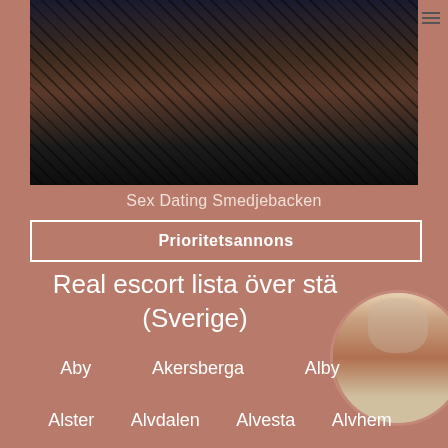[Figure (photo): Close-up photograph of a person wearing fishnet stockings posed against a dark leather surface]
Sex Dating Smedjebacken
Prioritetsannons
Real escort lista över städer (Sverige)
Aby
Akersberga
Alby
Alster
Alvdalen
Alvesta
Alvhem
[Figure (photo): Circular thumbnail photo of a person]